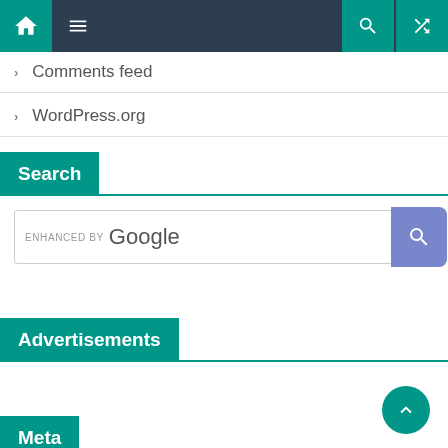[Figure (screenshot): Website navigation bar with home icon, hamburger menu, search icon, and random/shuffle icon on dark background with teal accent buttons]
Comments feed
WordPress.org
Search
ENHANCED BY Google
Advertisements
Meta